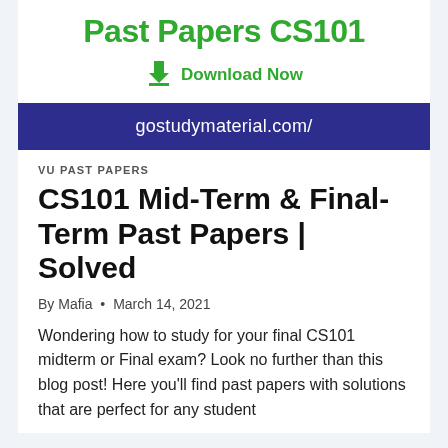Past Papers CS101
[Figure (infographic): Green download arrow icon with 'Download Now' text in green]
gostudymaterial.com/
VU PAST PAPERS
CS101 Mid-Term & Final-Term Past Papers | Solved
By Mafia • March 14, 2021
Wondering how to study for your final CS101 midterm or Final exam? Look no further than this blog post! Here you'll find past papers with solutions that are perfect for any student